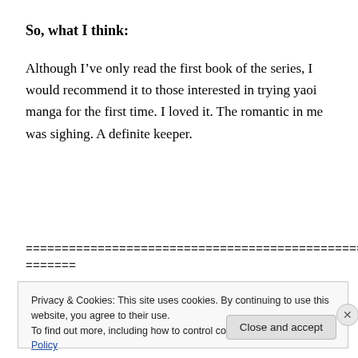So, what I think:
Although I’ve only read the first book of the series, I would recommend it to those interested in trying yaoi manga for the first time. I loved it. The romantic in me was sighing. A definite keeper.
=====================================================
=======
Privacy & Cookies: This site uses cookies. By continuing to use this website, you agree to their use.
To find out more, including how to control cookies, see here: Cookie Policy
Close and accept